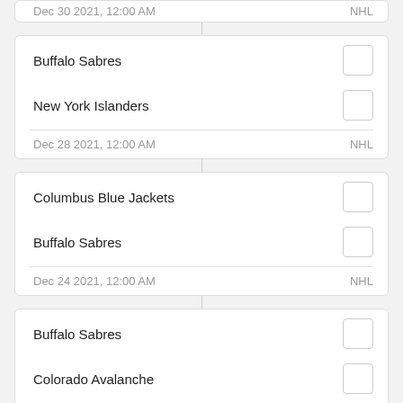| Team | Score |
| --- | --- |
| Buffalo Sabres |  |
| New York Islanders |  |
| Dec 28 2021, 12:00 AM | NHL |
| Team | Score |
| --- | --- |
| Columbus Blue Jackets |  |
| Buffalo Sabres |  |
| Dec 24 2021, 12:00 AM | NHL |
| Team | Score |
| --- | --- |
| Buffalo Sabres |  |
| Colorado Avalanche |  |
| Dec 23 2021, 12:00 AM | NHL |
| Team | Score |
| --- | --- |
| Buffalo Sabres |  |